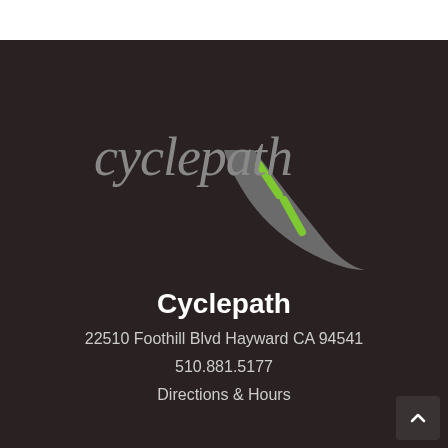[Figure (logo): Cyclepath logo: cursive gray text 'cyclepath' with a road/path illustration in gray with green dashed markings extending to the right]
Cyclepath
22510 Foothill Blvd Hayward CA 94541
510.881.5177
Directions & Hours